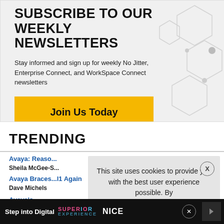SUBSCRIBE TO OUR WEEKLY NEWSLETTERS
Stay informed and sign up for weekly No Jitter, Enterprise Connect, and WorkSpace Connect newsletters
[Figure (other): Yellow 'Join Us Today' button]
TRENDING
Avaya: Reaso... | Sheila McGee-S...
Avaya Braces... l1 Again | Dave Michels
Avaya's... | Ryan Da...
This site uses cookies to provide you with the best user experience possible. By
[Figure (infographic): Ad banner: Step into Digital SUPERIENCE NICE]